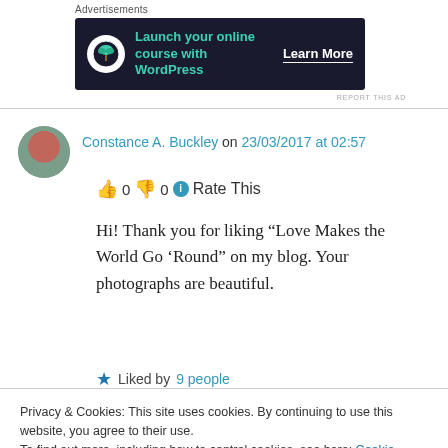Advertisements
[Figure (other): Dark advertisement banner: 'Launch your online course with WordPress - Learn More']
REPORT THIS AD
Constance A. Buckley on 23/03/2017 at 02:57
👍 0 👎 0 ℹ Rate This
Hi! Thank you for liking “Love Makes the World Go ‘Round” on my blog. Your photographs are beautiful.
★ Liked by 9 people
Privacy & Cookies: This site uses cookies. By continuing to use this website, you agree to their use.
To find out more, including how to control cookies, see here: Cookie Policy
Close and accept
👍 0 👎 0 ℹ Rate This